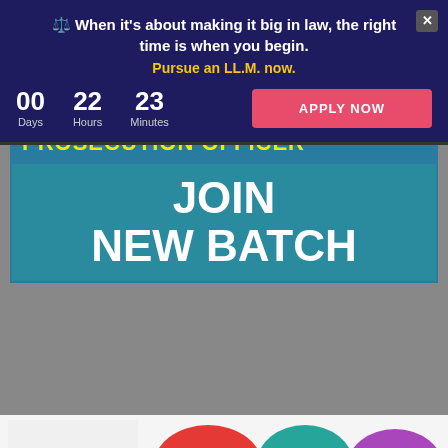[Figure (screenshot): LLM advertisement banner with dark blue background, showing balance scale emoji, text about making it big in law, countdown timer showing 00 days 22 hours 23 minutes, and a red APPLY NOW button]
⚖️ When it's about making it big in law, the right time is when you begin.
Pursue an LL.M. now.
00 Days  22 Hours  23 Minutes
APPLY NOW
[Figure (infographic): Prosecution Officer Join New Batch advertisement with teal/white card showing yellow bold text PROSECUTION OFFICER and white bold text JOIN NEW BATCH]
PROSECUTION OFFICER
JOIN NEW BATCH
[Figure (illustration): Bottom section showing a man in grey suit with red tie and glasses on left, and colorful cloud speech bubbles on right labeled RJS (red), DJS (teal), HARYANA JS (purple), GJS (orange), UPJS (pink), MPJS (yellow), BIHAR JS (green)]